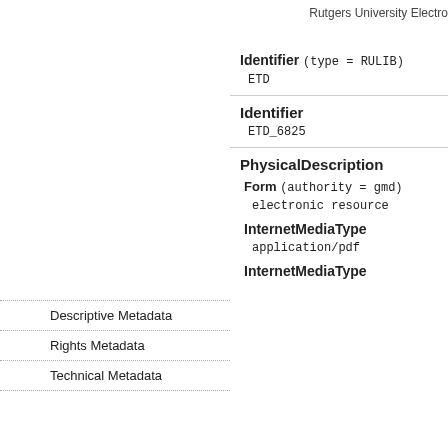Rutgers University Electro
Identifier (type = RULIB)
ETD
Identifier
ETD_6825
PhysicalDescription
Form (authority = gmd)
electronic resource
Descriptive Metadata
Rights Metadata
Technical Metadata
InternetMediaType
application/pdf
InternetMediaType